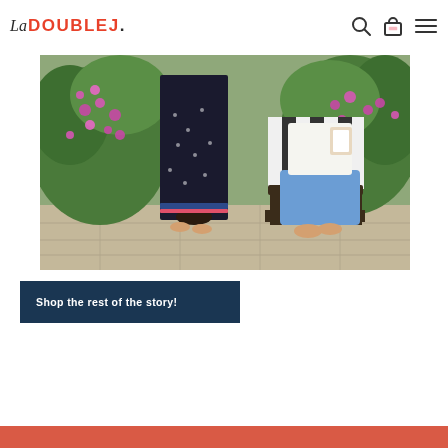La DOUBLEJ.
[Figure (photo): Two women in a garden with purple bougainvillea flowers. One stands wearing a dark patterned maxi dress, the other sits on a striped chair in jeans and a white top, barefoot on stone pavement.]
Shop the rest of the story!